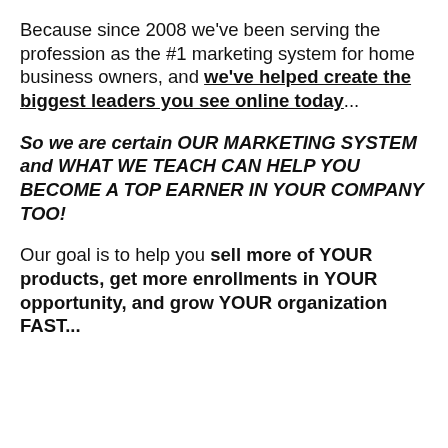Because since 2008 we've been serving the profession as the #1 marketing system for home business owners, and we've helped create the biggest leaders you see online today...
So we are certain OUR MARKETING SYSTEM and WHAT WE TEACH CAN HELP YOU BECOME A TOP EARNER IN YOUR COMPANY TOO!
Our goal is to help you sell more of YOUR products, get more enrollments in YOUR opportunity, and grow YOUR organization FAST...